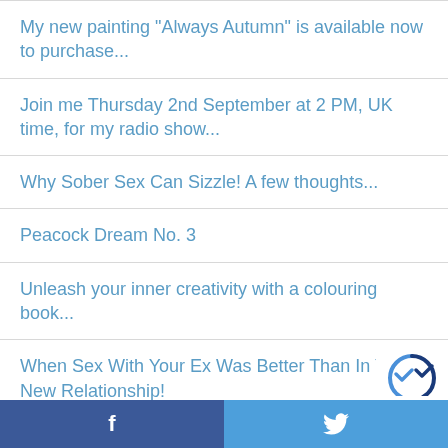My new painting "Always Autumn" is available now to purchase...
Join me Thursday 2nd September at 2 PM, UK time, for my radio show...
Why Sober Sex Can Sizzle! A few thoughts...
Peacock Dream No. 3
Unleash your inner creativity with a colouring book...
When Sex With Your Ex Was Better Than In Your New Relationship!
f  [twitter bird icon]